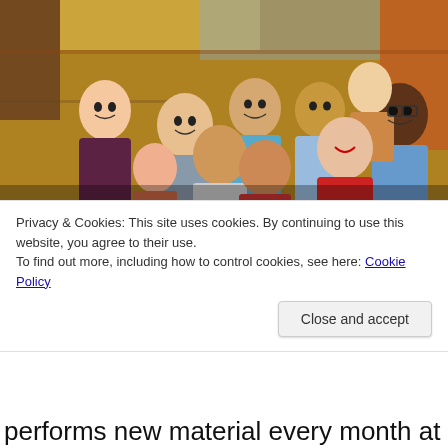[Figure (photo): Group photo of approximately 10 smiling and laughing people of diverse backgrounds inside what appears to be a colorful shop or store, taking a selfie-style photo looking down at the camera.]
Privacy & Cookies: This site uses cookies. By continuing to use this website, you agree to their use.
To find out more, including how to control cookies, see here: Cookie Policy
Close and accept
performs new material every month at The PIT that